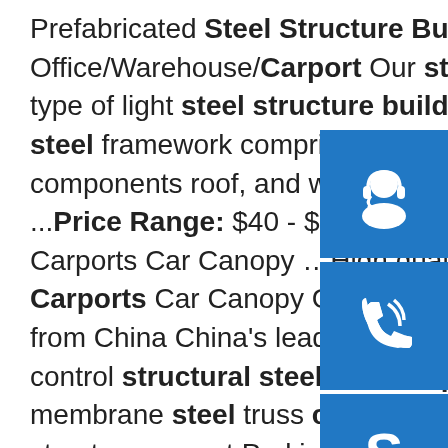Prefabricated Steel Structure Building for Office/Warehouse/Carport Our steel structure building is a new type of light steel structure building system formed from a main steel framework comprised of section, Z section, and U section steel components roof, and walls utilizing a variety of panels and other ...Price Range: $40 - $80sp.info Structural Steel T Membrane Carports Car Canopy …High quality St Steel Truss Membrane Carports Car Canopy Garage Shelter New Zealand America Standard from China China's leading steel truss carport product, with s quality control structural steel truss carport factory producing high quality membrane steel truss carport products.sp.info China SC103 Steel structure carport Parking Carport ...China SC103 Steel structure carport Parking Carport, Find details about China Sheet Metal Carport, Carport from SC103 Steel structure carport Parking Carport - Tianjin Weiming Industrial & …
[Figure (illustration): Three blue icon buttons stacked vertically on the right side: headset/customer service icon, phone/call icon, and Skype icon]